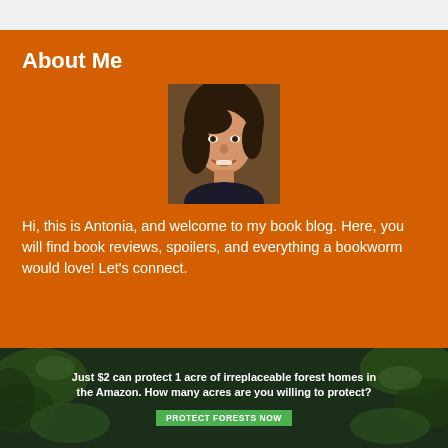About Me
[Figure (photo): Headshot photo of a young woman with dark hair, smiling, in an indoor setting]
Hi, this is Antonia, and welcome to my book blog. Here, you will find book reviews, spoilers, and everything a bookworm would love! Let's connect.
[Figure (infographic): Advertisement banner: green forest background with leaves, text reading 'Just $2 can protect 1 acre of irreplaceable forest homes in the Amazon. How many acres are you willing to protect?' with a green 'PROTECT FORESTS NOW' button]